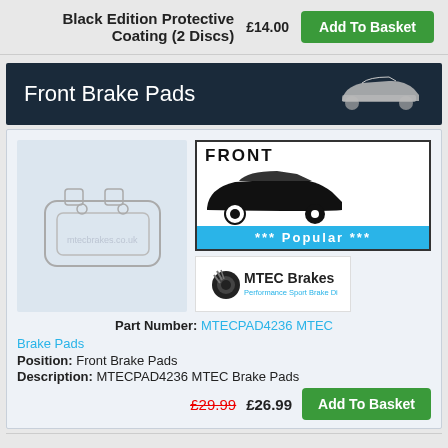Black Edition Protective Coating (2 Discs)
£14.00  Add To Basket
Front Brake Pads
[Figure (illustration): Silver car silhouette icon on dark navy background]
[Figure (illustration): Brake pad product illustration outline]
[Figure (illustration): FRONT badge with black car silhouette showing front wheel highlighted]
*** Popular ***
[Figure (logo): MTEC Brakes - Performance Sport Brake Discs logo]
Part Number: MTECPAD4236 MTEC Brake Pads
Position: Front Brake Pads
Description: MTECPAD4236 MTEC Brake Pads
£29.99 £26.99  Add To Basket